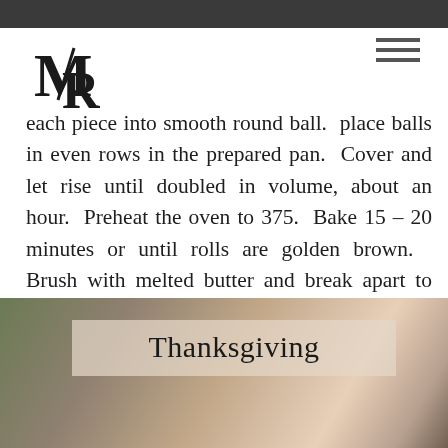[Figure (logo): MR monogram logo in serif style]
each piece into smooth round ball.  place balls in even rows in the prepared pan.  Cover and let rise until doubled in volume, about an hour.  Preheat the oven to 375.  Bake 15 – 20 minutes or until rolls are golden brown.   Brush with melted butter and break apart to serve.
[Figure (photo): A blurred background photo with a semi-transparent overlay box containing the word 'Thanksgiving' in large serif font]